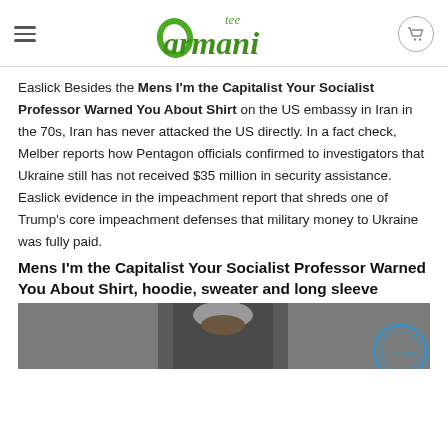tee Armani
Easlick Besides the Mens I'm the Capitalist Your Socialist Professor Warned You About Shirt on the US embassy in Iran in the 70s, Iran has never attacked the US directly. In a fact check, Melber reports how Pentagon officials confirmed to investigators that Ukraine still has not received $35 million in security assistance. Easlick evidence in the impeachment report that shreds one of Trump's core impeachment defenses that military money to Ukraine was fully paid.
Mens I'm the Capitalist Your Socialist Professor Warned You About Shirt, hoodie, sweater and long sleeve
[Figure (photo): Product photo showing a man wearing a dark shirt, with a circular badge/seal in the bottom right corner]